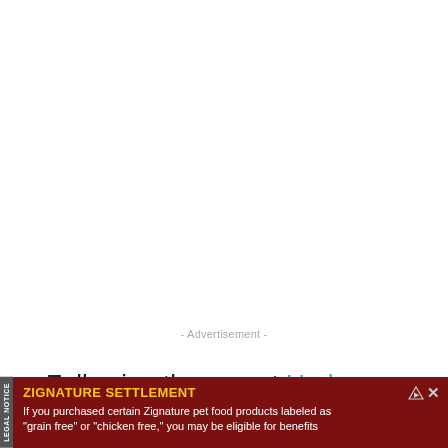- Advertisement -
Following the recent Uruha Rushia drama in Hololive, Cover Corp. has released a new statement, and it dropped a bombshell.
[Figure (other): Advertisement banner at the bottom: Zignature Settlement legal notice. Text reads: 'ZIGNATURE SETTLEMENT - If you purchased certain Zignature pet food products labeled as "grain free" or "chicken free," you may be eligible for benefits']